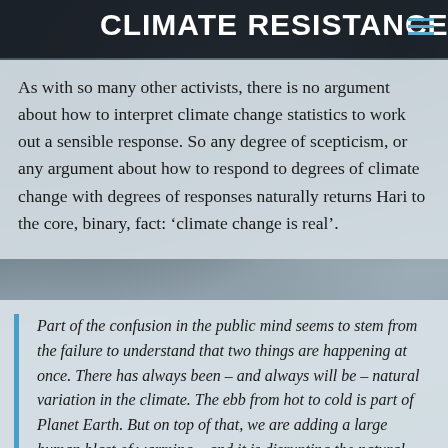CLIMATE RESISTANCE
As with so many other activists, there is no argument about how to interpret climate change statistics to work out a sensible response. So any degree of scepticism, or any argument about how to respond to degrees of climate change with degrees of responses naturally returns Hari to the core, binary, fact: ‘climate change is real’.
Part of the confusion in the public mind seems to stem from the failure to understand that two things are happening at once. There has always been – and always will be – natural variation in the climate. The ebb from hot to cold is part of Planet Earth. But on top of that, we are adding a large human blast of warming – and it is disrupting the natural rhythm. So when, in opinion polls, people say warming is “natural”, they are right, but it’s only